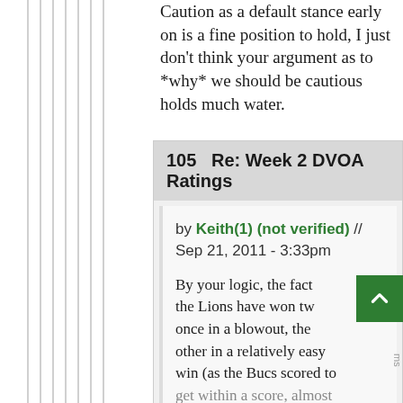Caution as a default stance early on is a fine position to hold, I just don't think your argument as to *why* we should be cautious holds much water.
105  Re: Week 2 DVOA Ratings
by Keith(1) (not verified) // Sep 21, 2011 - 3:33pm
By your logic, the fact the Lions have won tw once in a blowout, the other in a relatively easy win (as the Bucs scored to get within a score, almost